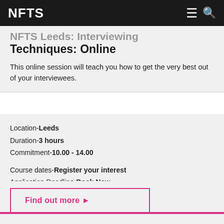NFTS
NFTS Leeds: Interviewing Techniques: Online
This online session will teach you how to get the very best out of your interviewees.
Location-Leeds
Duration-3 hours
Commitment-10.00 - 14.00
Course dates-Register your interest
Application Deadline-Book Now
Find out more ▶